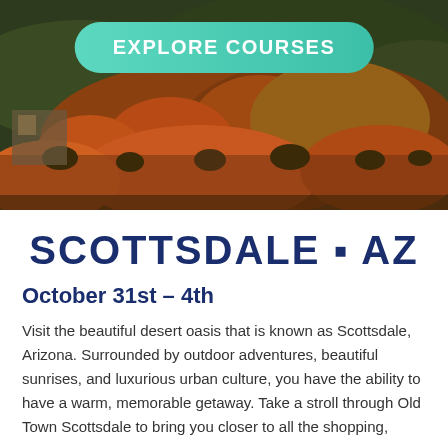[Figure (photo): Aerial desert landscape photo of Scottsdale Arizona showing rocky terrain with orange and rust colored boulders, desert shrubs, and building in background at warm golden hour light]
EXPLORE COURSES
SCOTTSDALE · AZ
October 31st – 4th
Visit the beautiful desert oasis that is known as Scottsdale, Arizona. Surrounded by outdoor adventures, beautiful sunrises, and luxurious urban culture, you have the ability to have a warm, memorable getaway. Take a stroll through Old Town Scottsdale to bring you closer to all the shopping,